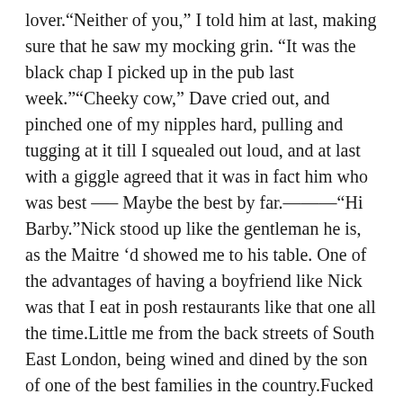lover.“Neither of you,” I told him at last, making sure that he saw my mocking grin. “It was the black chap I picked up in the pub last week.”“Cheeky cow,” Dave cried out, and pinched one of my nipples hard, pulling and tugging at it till I squealed out loud, and at last with a giggle agreed that it was in fact him who was best —– Maybe the best by far.———“Hi Barby.”Nick stood up like the gentleman he is, as the Maitre ‘d showed me to his table. One of the advantages of having a boyfriend like Nick was that I eat in posh restaurants like that one all the time.Little me from the back streets of South East London, being wined and dined by the son of one of the best families in the country.Fucked by him as well for that matter.“Hi Nick,” I greeted him with a smile on my face. “Sorry I’m late sweetheart, but I got caught up on something.”What a sweetheart my Nick was. Never queried what I had been stuck up on to make me so late. Not that I could have told him that it had been his best friend’s hard cock.“Just over two weeks to go now Barby,” my lovely six foot tall hunk of a husband to be reminded me, as he curled his arm round my slender waist. “Then we can sleep together every night without having to